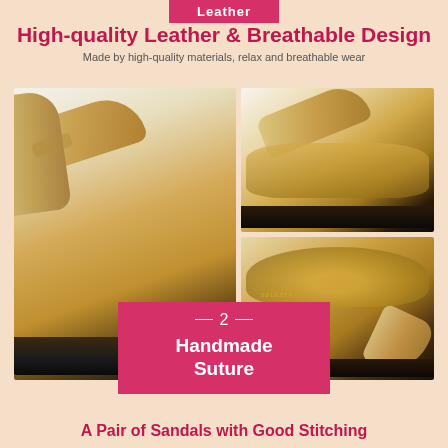Leather
High-quality Leather & Breathable Design
Made by high-quality materials, relax and breathable wear
[Figure (photo): Three close-up photos of tan/gold leather flip-flop sandals showing straps, footbed, and sole details]
— 2 — Handmade Suture
A Pair of Sandals with Good Stitching